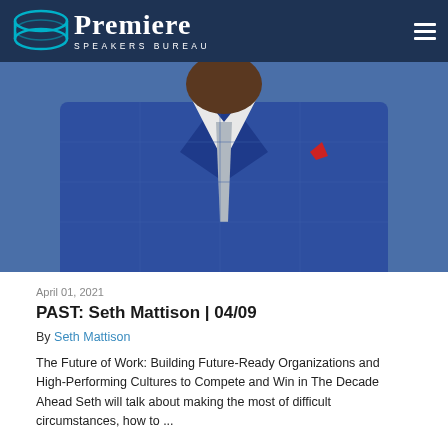Premiere Speakers Bureau
[Figure (photo): A man in a blue checked suit with a white shirt and grey tie, with a red lapel pin, photographed from chest up.]
April 01, 2021
PAST: Seth Mattison | 04/09
By Seth Mattison
The Future of Work: Building Future-Ready Organizations and High-Performing Cultures to Compete and Win in The Decade Ahead Seth will talk about making the most of difficult circumstances, how to ...